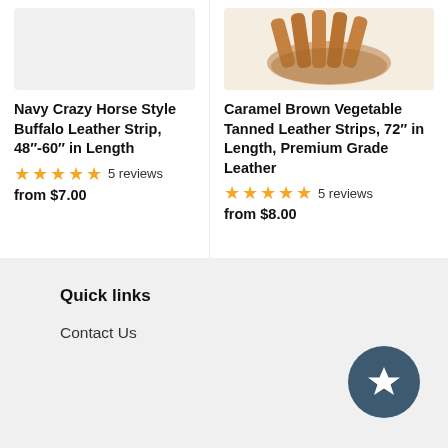[Figure (photo): Product image placeholder for Navy Crazy Horse Style Buffalo Leather Strip (gray background)]
Navy Crazy Horse Style Buffalo Leather Strip, 48″-60″ in Length
5 reviews
from $7.00
[Figure (photo): Product photo of Caramel Brown Vegetable Tanned Leather Strips coiled on white background]
Caramel Brown Vegetable Tanned Leather Strips, 72″ in Length, Premium Grade Leather
5 reviews
from $8.00
Quick links
Contact Us